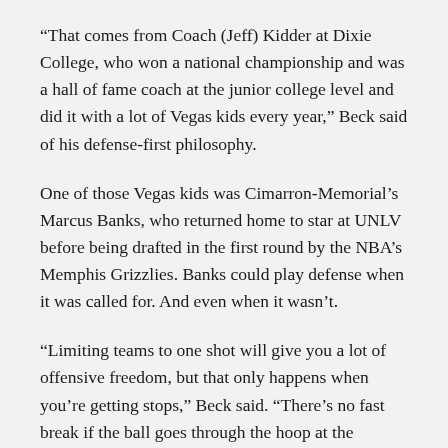“That comes from Coach (Jeff) Kidder at Dixie College, who won a national championship and was a hall of fame coach at the junior college level and did it with a lot of Vegas kids every year,” Beck said of his defense-first philosophy.
One of those Vegas kids was Cimarron-Memorial’s Marcus Banks, who returned home to star at UNLV before being drafted in the first round by the NBA’s Memphis Grizzlies. Banks could play defense when it was called for. And even when it wasn’t.
“Limiting teams to one shot will give you a lot of offensive freedom, but that only happens when you’re getting stops,” Beck said. “There’s no fast break if the ball goes through the hoop at the